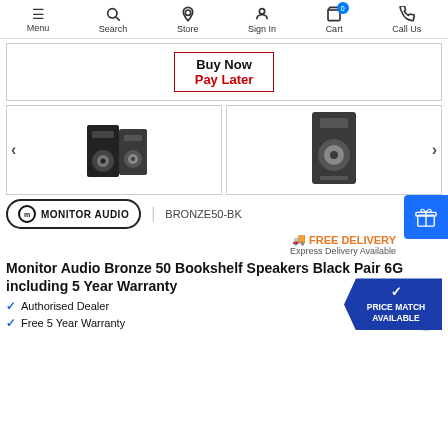Menu  Search  Store  Sign In  Cart  Call Us
[Figure (screenshot): Buy Now Pay Later promotional banner with red border]
[Figure (photo): Two bookshelf speakers (pair) shown in black - left image in product carousel]
[Figure (photo): Single bookshelf speaker shown front-facing in black - right image in product carousel]
[Figure (logo): Monitor Audio oval logo]
BRONZE50-BK
FREE DELIVERY Express Delivery Available
Monitor Audio Bronze 50 Bookshelf Speakers Black Pair 6G including 5 Year Warranty
Authorised Dealer
Free 5 Year Warranty
[Figure (infographic): Price Match Available blue badge]